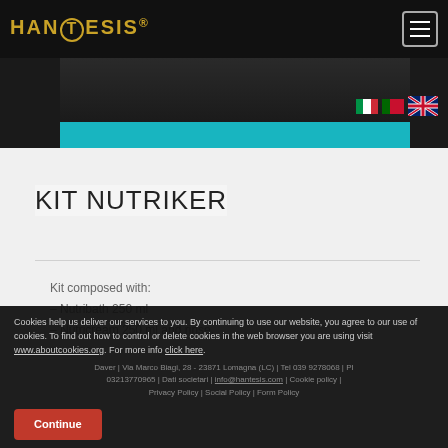HANTESIS
[Figure (screenshot): Website header with Hantesis logo on black background, teal bar at bottom of hero image area, flag icons for Italian and English language selection, hamburger menu button]
KIT NUTRIKER
Kit composed with:
– Nutribath 250 ml
– Nutricream 250 ml and rinse.
Cookies help us deliver our services to you. By continuing to use our website, you agree to our use of cookies. To find out how to control or delete cookies in the web browser you are using visit www.aboutcookies.org. For more info click here.
Daver | Via Marco Biagi, 28 - 23871 Lomagna (LC) | Tel 039 9278068 | PI 03213770965 | Dati societari | info@hantesis.com | Cookie policy | Privacy Policy | Social Policy | Form Policy